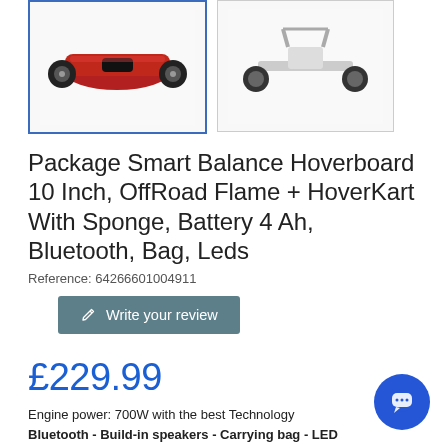[Figure (photo): Two product thumbnail images of a hoverboard - first with blue border (selected), second plain. Left shows red/black hoverboard front view, right shows hoverboard side/back view.]
Package Smart Balance Hoverboard 10 Inch, OffRoad Flame + HoverKart With Sponge, Battery 4 Ah, Bluetooth, Bag, Leds
Reference: 64266601004911
Write your review
£229.99
Engine power: 700W with the best Technology
Bluetooth - Build-in speakers - Carrying bag - LED Lights
Battery: 36V 4Ah Samsung cells
Maximum speed: 15 km / h